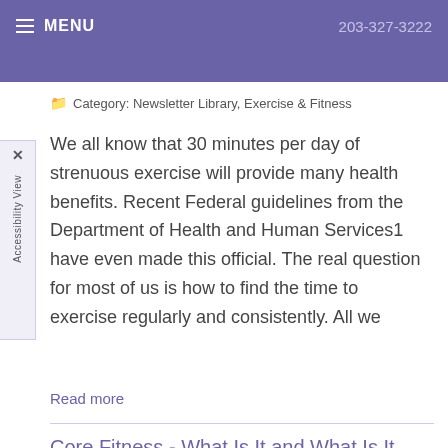MENU  203-327-3222
Category: Newsletter Library, Exercise & Fitness
We all know that 30 minutes per day of strenuous exercise will provide many health benefits. Recent Federal guidelines from the Department of Health and Human Services1 have even made this official. The real question for most of us is how to find the time to exercise regularly and consistently. All we
Read more
Core Fitness - What Is It and What Is It Good For?